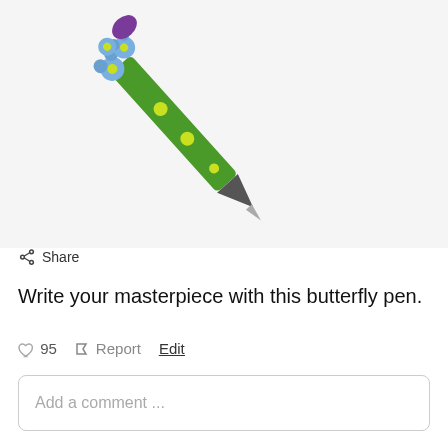[Figure (photo): A green pen with yellow polka dots and blue flower decorations at the top, photographed against a white background.]
Share
Write your masterpiece with this butterfly pen.
95  Report  Edit
Add a comment ...